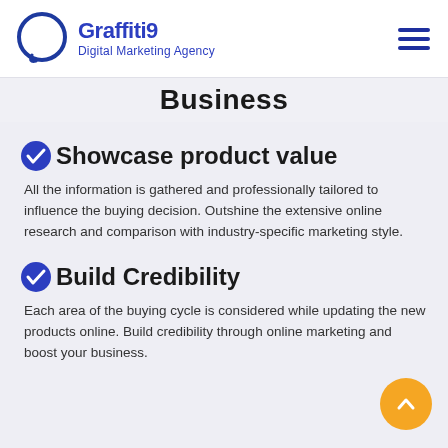Graffiti9 Digital Marketing Agency
Business
Showcase product value
All the information is gathered and professionally tailored to influence the buying decision. Outshine the extensive online research and comparison with industry-specific marketing style.
Build Credibility
Each area of the buying cycle is considered while updating the new products online. Build credibility through online marketing and boost your business.